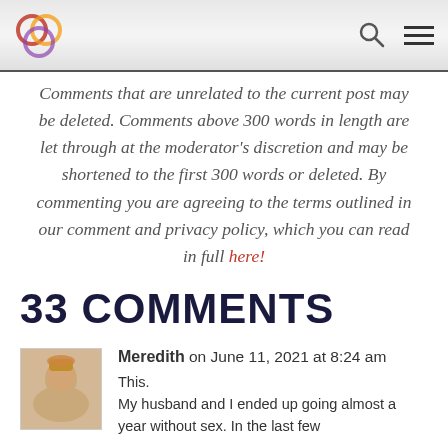[Logo] [Search icon] [Menu icon]
Comments that are unrelated to the current post may be deleted. Comments above 300 words in length are let through at the moderator's discretion and may be shortened to the first 300 words or deleted. By commenting you are agreeing to the terms outlined in our comment and privacy policy, which you can read in full here!
33 COMMENTS
Meredith on June 11, 2021 at 8:24 am
This.
My husband and I ended up going almost a year without sex. In the last few